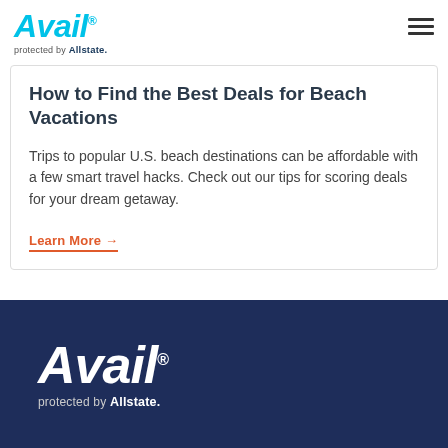Avail protected by Allstate.
How to Find the Best Deals for Beach Vacations
Trips to popular U.S. beach destinations can be affordable with a few smart travel hacks. Check out our tips for scoring deals for your dream getaway.
Learn More →
Avail protected by Allstate.